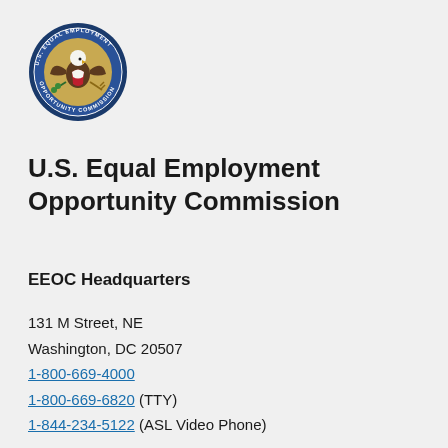[Figure (logo): U.S. Equal Employment Opportunity Commission official seal — circular blue border with eagle, shield, and olive branch emblem]
U.S. Equal Employment Opportunity Commission
EEOC Headquarters
131 M Street, NE
Washington, DC 20507
1-800-669-4000
1-800-669-6820 (TTY)
1-844-234-5122 (ASL Video Phone)